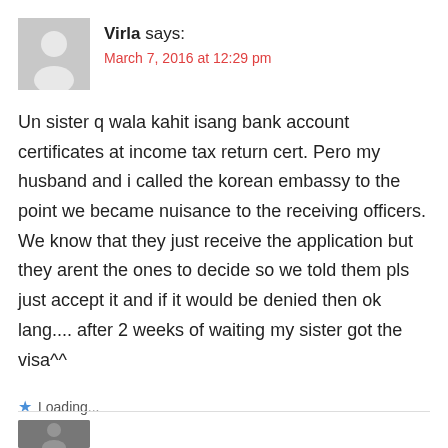[Figure (illustration): Generic user avatar placeholder — grey square with white silhouette of a person]
Virla says:
March 7, 2016 at 12:29 pm
Un sister q wala kahit isang bank account certificates at income tax return cert. Pero my husband and i called the korean embassy to the point we became nuisance to the receiving officers. We know that they just receive the application but they arent the ones to decide so we told them pls just accept it and if it would be denied then ok lang.... after 2 weeks of waiting my sister got the visa^^
Loading...
Reply
[Figure (photo): Partial view of a user avatar photo at the bottom of the page]